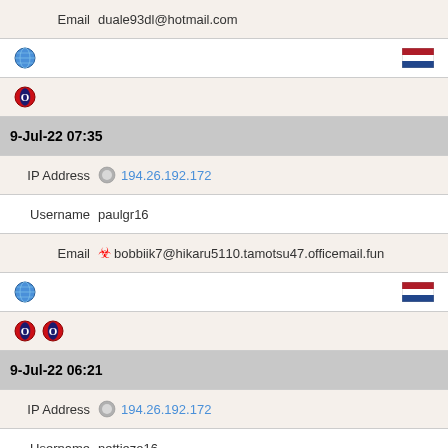Email  duale93dl@hotmail.com
[Figure (infographic): Globe icon on left, Dutch flag on right]
[Figure (infographic): Opera browser icon]
9-Jul-22 07:35
IP Address  194.26.192.172
Username  paulgr16
Email  bobbiik7@hikaru5110.tamotsu47.officemail.fun
[Figure (infographic): Globe icon on left, Dutch flag on right]
[Figure (infographic): Two Opera browser icons]
9-Jul-22 06:21
IP Address  194.26.192.172
Username  nettiezo16
Email  margretnv11@susumo28.officemail.fun
[Figure (infographic): Globe icon on left, Dutch flag on right]
[Figure (infographic): Opera browser icon]
8-Jul-22 13:13
IP Address  194.26.192.172